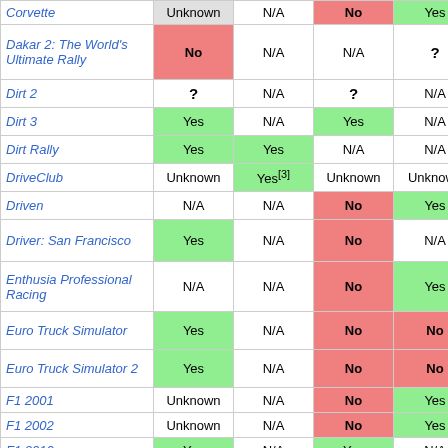| Game | Col2 | Col3 | Col4 | Col5 |
| --- | --- | --- | --- | --- |
| Corvette (partial) | Unknown | N/A | No | Yes |
| Dakar 2: The World's Ultimate Rally | No | N/A | N/A | ? |
| Dirt 2 | ? | N/A | ? | N/A |
| Dirt 3 | Yes | N/A | Yes | N/A |
| Dirt Rally | Yes | Yes | N/A | N/A |
| DriveClub | Unknown | Yes[3] | Unknown | Unknown |
| Driven | N/A | N/A | No | Yes |
| Driver: San Francisco | Yes | N/A | No | N/A |
| Enthusia Professional Racing | N/A | N/A | No | Yes |
| Euro Truck Simulator | Yes | N/A | No | No |
| Euro Truck Simulator 2 | Yes | N/A | No | No |
| F1 2001 | Unknown | N/A | No | Yes |
| F1 2002 | Unknown | N/A | No | Yes |
| F1 2010 | Yes | N/A | Yes | N/A |
| F1 2012 | Yes | N/A | Yes | N/A |
| F1 2013 (partial) | Yes | N/A | Yes | N/A |